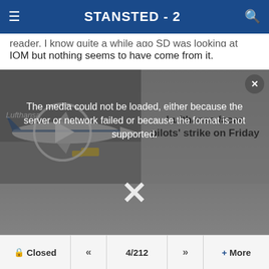STANSTED - 2
IOM but nothing seems to have come from it.
[Figure (screenshot): A video player overlay showing a Lufthansa airplane on the left thumbnail side, with text 'Lufthansa faces pilots' strike on Friday' on the right. Over the video player is an error message: 'The media could not be loaded, either because the server or network failed or because the format is not supported.' A large white X appears in the center, and a small X close button is in the top-right corner.]
Closed  <<  4/212  >>  + More